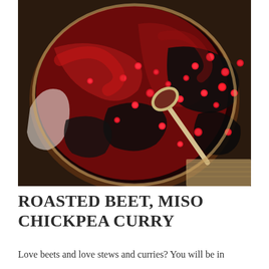[Figure (photo): Overhead close-up photo of a large round pan or skillet containing a deep red-purple beet and chickpea curry with pomegranate seeds scattered throughout, dark leafy greens visible, and a metal spoon resting in the dish. The pan sits on a wooden surface with a burlap cloth visible at bottom right.]
ROASTED BEET, MISO CHICKPEA CURRY
Love beets and love stews and curries? You will be in